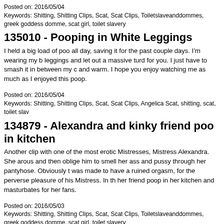Posted on: 2016/05/04
Keywords: Shitting, Shitting Clips, Scat, Scat Clips, Toiletslaveanddommes, greek goddess domme, scat girl, toilet slavery
135010 - Pooping in White Leggings
I held a big load of poo all day, saving it for the past couple days. I’m wearing my b leggings and let out a massive turd for you. I just have to smash it in between my c and warm. I hope you enjoy watching me as much as I enjoyed this poop.
Posted on: 2016/05/04
Keywords: Shitting, Shitting Clips, Scat, Scat Clips, Angelica Scat, shitting, scat, toilet slav
134879 - Alexandra and kinky friend poo in kitchen
Another clip with one of the most erotic Mistresses, Mistress Alexandra. She arous and then oblige him to smell her ass and pussy through her pantyhose. Obviously t was made to have a ruined orgasm, for the perverse pleasure of his Mistress. In th her friend poop in her kitchen and masturbates for her fans.
Posted on: 2016/05/03
Keywords: Shitting, Shitting Clips, Scat, Scat Clips, Toiletslaveanddommes, greek goddess domme, scat girl, toilet slavery
134911 - Bathtub Pee and Poo
Squatting on my feet in my bathtub, I push out a log of shit. As I begin to pee I wink asshole. A lovely gift for my toilet slaves. ☺
Posted on: 2016/05/03
Keywords: Shitting, Shitting Clips, Scat, Scat Clips, Angelica Scat, shitting, scat, toilet slav
134778 - Soft Shit in Leather Shoes